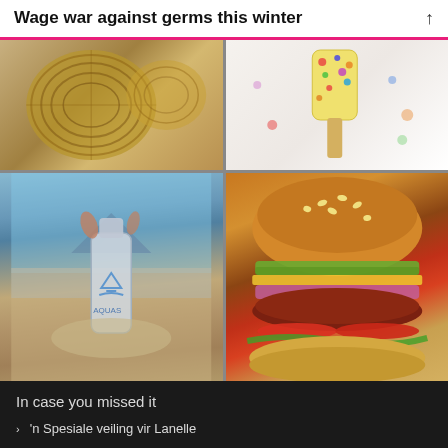Wage war against germs this winter
[Figure (photo): Top-left photo: woven basket/hat items in tan and brown tones]
[Figure (photo): Top-right photo: colorful sprinkle popsicle/ice lolly on white background]
[Figure (photo): Bottom-left photo: A hand pulling a metallic Aquasa water bottle from wet sand at a beach with mountains in background]
[Figure (photo): Bottom-right photo: Close-up of a gourmet burger with sesame bun, pickles, purple onion, beef patty, cheese, tomatoes, and lettuce]
In case you missed it
'n Spesiale veiling vir Lanelle
Japanese gin? Yes, please!
Creamy, nutty Mushroom and Chicken